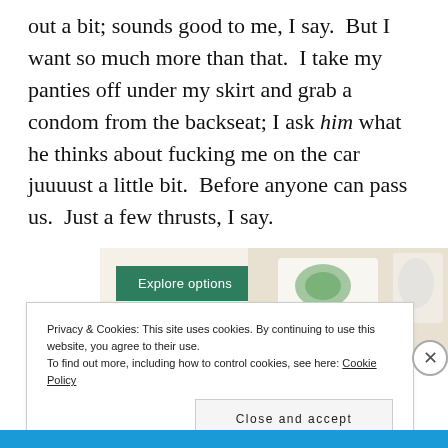out a bit; sounds good to me, I say.  But I want so much more than that.  I take my panties off under my skirt and grab a condom from the backseat; I ask him what he thinks about fucking me on the car juuuust a little bit.  Before anyone can pass us.  Just a few thrusts, I say.
[Figure (screenshot): Advertisement banner with green 'Explore options' button on beige background with food/recipe imagery on the right side.]
Privacy & Cookies: This site uses cookies. By continuing to use this website, you agree to their use.
To find out more, including how to control cookies, see here: Cookie Policy
Close and accept